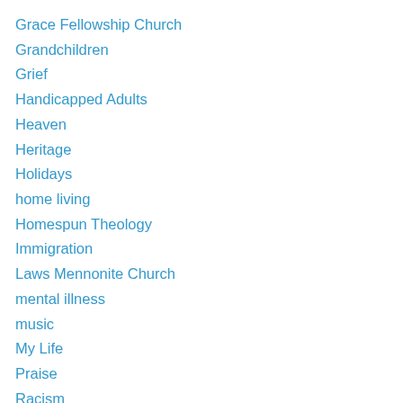Grace Fellowship Church
Grandchildren
Grief
Handicapped Adults
Heaven
Heritage
Holidays
home living
Homespun Theology
Immigration
Laws Mennonite Church
mental illness
music
My Life
Praise
Racism
Recipe
Resurrection
Stories from the Household of CM & CMW
Suicide